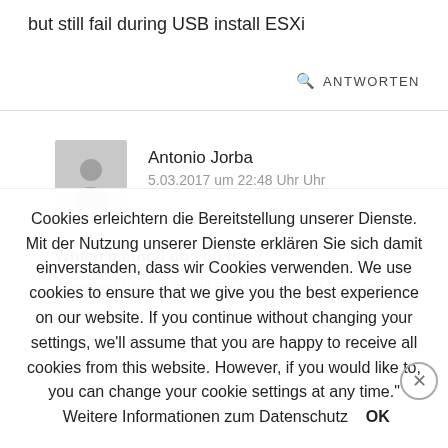but still fail during USB install ESXi
🔍 ANTWORTEN
Antonio Jorba
5.03.2017 um 22:48 Uhr Uhr
Which method do you use?
Have you tried to install ESXi inside a VM on your
Cookies erleichtern die Bereitstellung unserer Dienste. Mit der Nutzung unserer Dienste erklären Sie sich damit einverstanden, dass wir Cookies verwenden. We use cookies to ensure that we give you the best experience on our website. If you continue without changing your settings, we'll assume that you are happy to receive all cookies from this website. However, if you would like to, you can change your cookie settings at any time."  Weitere Informationen zum Datenschutz    OK